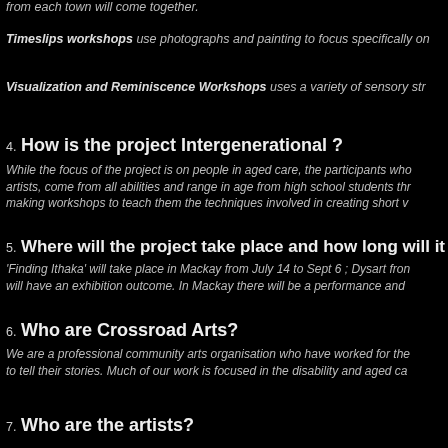from each town will come together.
Timeslips workshops use photographs and painting to focus specifically on
Visualization and Reminiscence Workshops uses a variety of sensory str
4. How is the project Intergenerational ?
While the focus of the project is on people in aged care, the participants who artists, come from all abilities and range in age from high school students thr making workshops to teach them the techniques involved in creating short v
5. Where will the project take place and how long will it go
'Finding Ithaka' will take place in Mackay from July 14 to Sept 6 ; Dysart fron will have an exhibition outcome. In Mackay there will be a performance and
6. Who are Crossroad Arts?
We are a professional community arts organisation who have worked for the to tell their stories. Much of our work is focused in the disability and aged ca
7. Who are the artists?